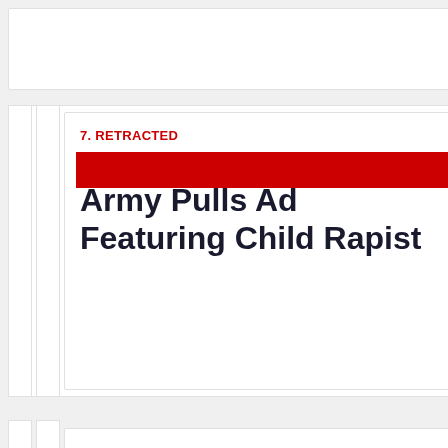7. RETRACTED
Army Pulls Ad Featuring Child Rapist
The U.S. Army pulled a recruitment ad this week a